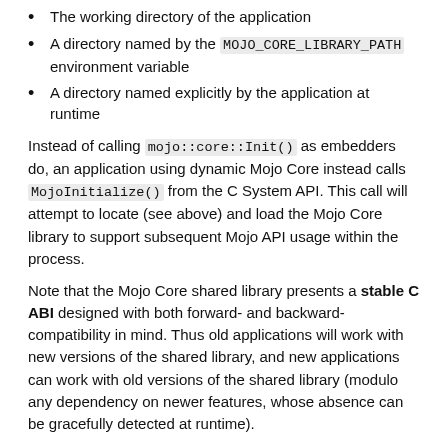The working directory of the application
A directory named by the MOJO_CORE_LIBRARY_PATH environment variable
A directory named explicitly by the application at runtime
Instead of calling mojo::core::Init() as embedders do, an application using dynamic Mojo Core instead calls MojoInitialize() from the C System API. This call will attempt to locate (see above) and load the Mojo Core library to support subsequent Mojo API usage within the process.
Note that the Mojo Core shared library presents a stable C ABI designed with both forward- and backward-compatibility in mind. Thus old applications will work with new versions of the shared library, and new applications can work with old versions of the shared library (modulo any dependency on newer features, whose absence can be gracefully detected at runtime).
C System API